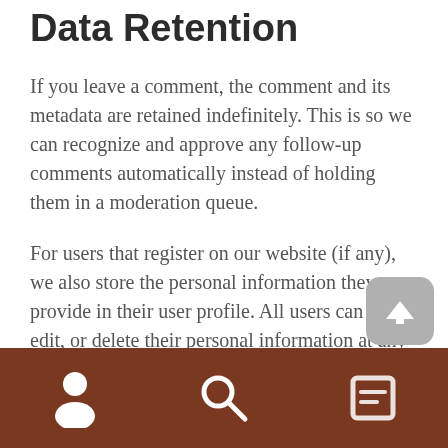Data Retention
If you leave a comment, the comment and its metadata are retained indefinitely. This is so we can recognize and approve any follow-up comments automatically instead of holding them in a moderation queue.
For users that register on our website (if any), we also store the personal information they provide in their user profile. All users can see, edit, or delete their personal information at any time (except they cannot change their username). Website administrators can also see and edit that information.
[Figure (screenshot): Mobile app bottom navigation bar with brown background containing user/person icon, search/magnifying glass icon, and a partially visible third icon. A scroll-to-top button with an upward arrow is overlaid in the bottom right corner.]